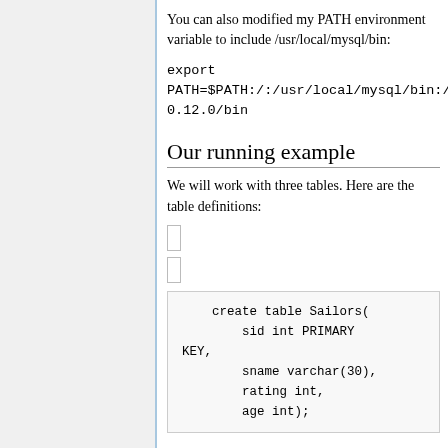You can also modified my PATH environment variable to include /usr/local/mysql/bin:
export
PATH=$PATH:/:/usr/local/mysql/bin:/usr/loc1.2.1/bin:/usr/local/pig-0.12.0/bin
Our running example
We will work with three tables. Here are the table definitions:
create table Sailors(
        sid int PRIMARY KEY,
        sname varchar(30),
        rating int,
        age int);